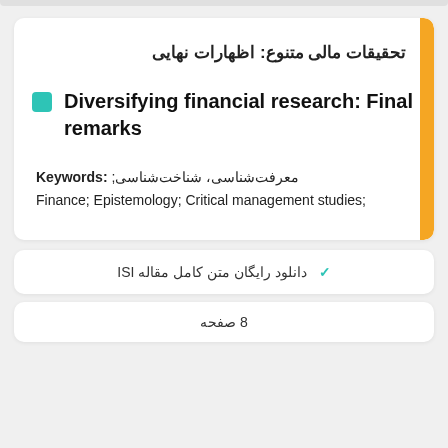تحقیقات مالی متنوع: اظهارات نهایی
Diversifying financial research: Final remarks
Keywords: ;معرفت‌شناسی، شناخت‌شناسی Finance; Epistemology; Critical management studies;
✓ دانلود رایگان متن کامل مقاله ISI
8 صفحه